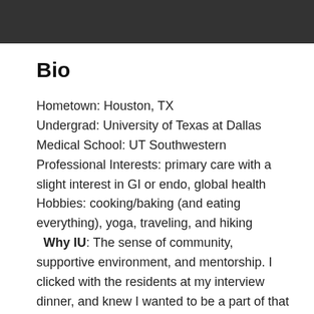[Figure (other): Dark gray/black header bar at the top of the page]
Bio
Hometown: Houston, TX
Undergrad: University of Texas at Dallas
Medical School: UT Southwestern
Professional Interests: primary care with a slight interest in GI or endo, global health
Hobbies: cooking/baking (and eating everything), yoga, traveling, and hiking
  Why IU: The sense of community, supportive environment, and mentorship. I clicked with the residents at my interview dinner, and knew I wanted to be a part of that community. I could tell the residents worked hard and received good training, but